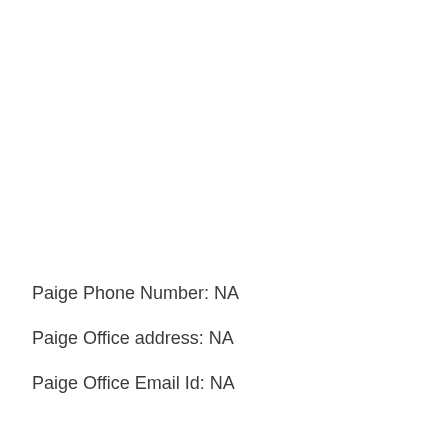Paige Phone Number: NA
Paige Office address: NA
Paige Office Email Id: NA